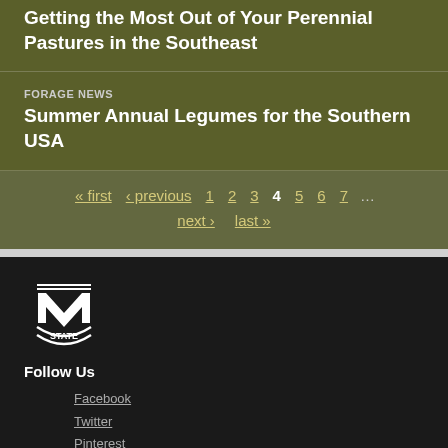Getting the Most Out of Your Perennial Pastures in the Southeast
FORAGE NEWS
Summer Annual Legumes for the Southern USA
« first ‹ previous 1 2 3 4 5 6 7 … next › last »
[Figure (logo): Mississippi State University logo with M STATE emblem in white on dark background]
Follow Us
Facebook
Twitter
Pinterest
Instagram
4-H